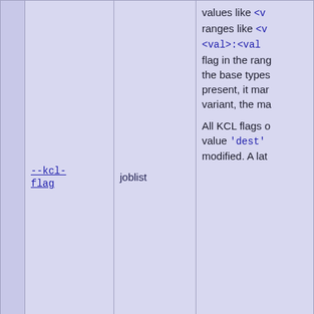|  | Flag | Type | Description |
| --- | --- | --- | --- |
|  | --kcl-flag | joblist | values like <v... ranges like <v... <val>:<val... flag in the rang... the base types... present, it mar... variant, the ma...

All KCL flags o... value 'dest'... modified. A lat... |
|  | --kcl-script | script | After reading a... transformation... the internal tex... functions tri... positions and ... triangles.

If this option is... executed in the... |
|  |  |  | Define the min... intention is to... EXPR is a floa... are invalidated... |